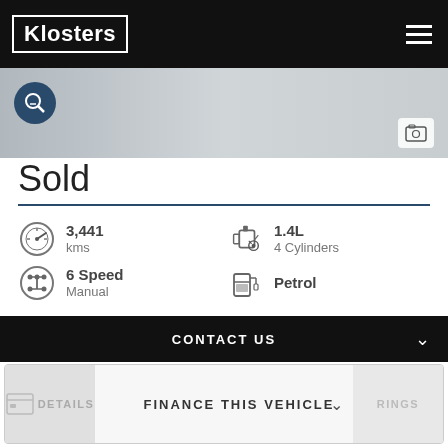[Figure (logo): Klosters logo in white on black background with border, and hamburger menu icon on right]
[Figure (photo): Partial vehicle image with search icon on left and gallery icon on right]
Sold
3,441 kms
1.4L 4 Cylinders
6 Speed Manual
Petrol
CONTACT US
FINANCE THIS VEHICLE